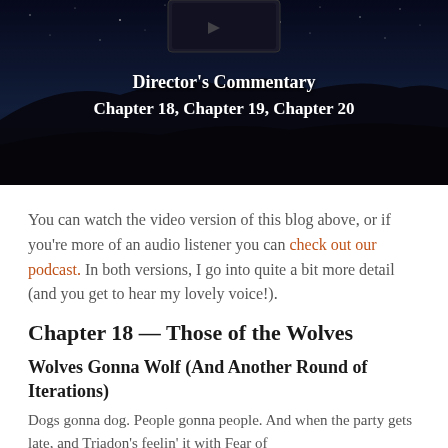[Figure (illustration): Hero banner image showing a night sky with stars and a mountain/landscape silhouette. Centered at the top is a dark video player thumbnail. White bold text overlay reads: Director's Commentary Chapter 18, Chapter 19, Chapter 20]
You can watch the video version of this blog above, or if you're more of an audio listener you can check out our podcast. In both versions, I go into quite a bit more detail (and you get to hear my lovely voice!).
Chapter 18 — Those of the Wolves
Wolves Gonna Wolf (And Another Round of Iterations)
Dogs gonna dog. People gonna people. And when the party gets late, and Triadon's feelin' it with Fear of